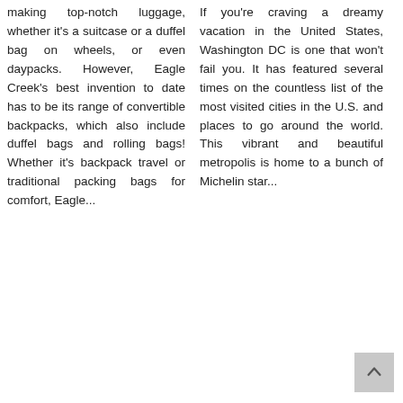making top-notch luggage, whether it's a suitcase or a duffel bag on wheels, or even daypacks. However, Eagle Creek's best invention to date has to be its range of convertible backpacks, which also include duffel bags and rolling bags! Whether it's backpack travel or traditional packing bags for comfort, Eagle...
If you're craving a dreamy vacation in the United States, Washington DC is one that won't fail you. It has featured several times on the countless list of the most visited cities in the U.S. and places to go around the world. This vibrant and beautiful metropolis is home to a bunch of Michelin star...